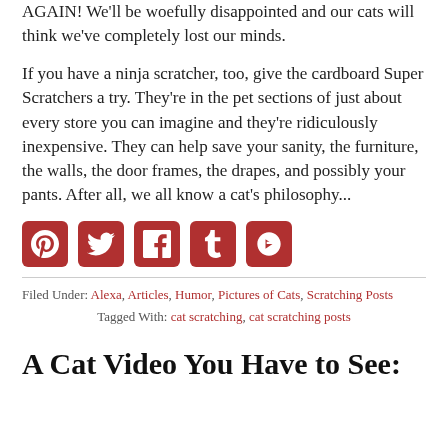AGAIN!  We'll be woefully disappointed and our cats will think we've completely lost our minds.
If you have a ninja scratcher, too, give the cardboard Super Scratchers a try.  They're in the pet sections of just about every store you can imagine and they're ridiculously inexpensive.  They can help save your sanity, the furniture, the walls, the door frames, the drapes, and possibly your pants.  After all, we all know a cat's philosophy...
[Figure (infographic): Row of five red social media share buttons: Pinterest, Twitter, Facebook, Tumblr, and a circular arrow/share icon]
Filed Under: Alexa, Articles, Humor, Pictures of Cats, Scratching Posts
Tagged With: cat scratching, cat scratching posts
A Cat Video You Have to See: